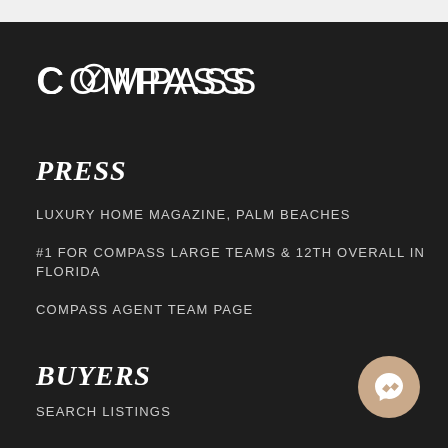[Figure (logo): Compass real estate logo in white text with a circle-O on dark background]
PRESS
LUXURY HOME MAGAZINE, PALM BEACHES
#1 FOR COMPASS LARGE TEAMS & 12TH OVERALL IN FLORIDA
COMPASS AGENT TEAM PAGE
BUYERS
SEARCH LISTINGS
[Figure (illustration): Messenger chat icon button in tan/beige circle]